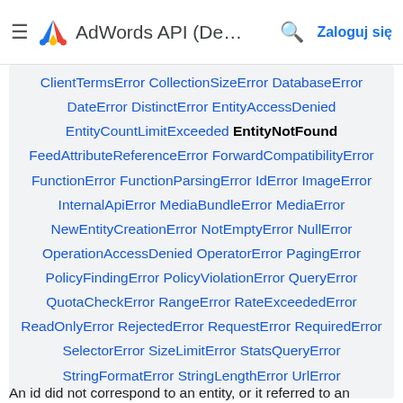AdWords API (De...) — Zaloguj się
ClientTermsError CollectionSizeError DatabaseError DateError DistinctError EntityAccessDenied EntityCountLimitExceeded EntityNotFound FeedAttributeReferenceError ForwardCompatibilityError FunctionError FunctionParsingError IdError ImageError InternalApiError MediaBundleError MediaError NewEntityCreationError NotEmptyError NullError OperationAccessDenied OperatorError PagingError PolicyFindingError PolicyViolationError QueryError QuotaCheckError RangeError RateExceededError ReadOnlyError RejectedError RequestError RequiredError SelectorError SizeLimitError StatsQueryError StringFormatError StringLengthError UrlError
An id did not correspond to an entity, or it referred to an